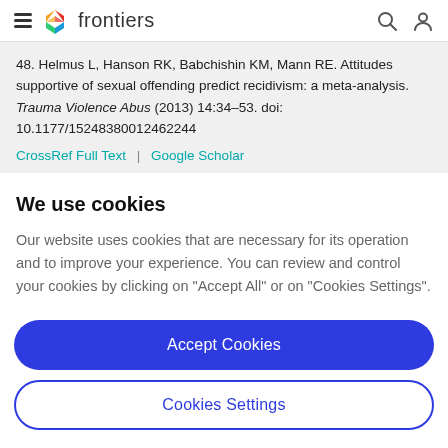frontiers
48. Helmus L, Hanson RK, Babchishin KM, Mann RE. Attitudes supportive of sexual offending predict recidivism: a meta-analysis. Trauma Violence Abus (2013) 14:34–53. doi: 10.1177/15248380012462244
CrossRef Full Text | Google Scholar
We use cookies
Our website uses cookies that are necessary for its operation and to improve your experience. You can review and control your cookies by clicking on "Accept All" or on "Cookies Settings".
Accept Cookies
Cookies Settings